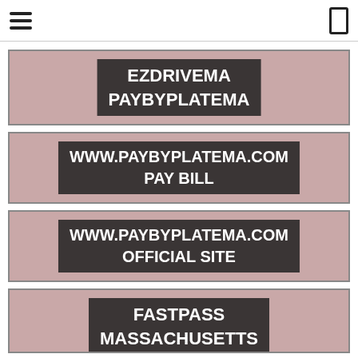[Figure (other): Card with pink background and dark text block showing EZDRIVEMA / PAYBYPLATEMA]
[Figure (other): Card with pink background and dark text block showing WWW.PAYBYPLATEMA.COM / PAY BILL]
[Figure (other): Card with pink background and dark text block showing WWW.PAYBYPLATEMA.COM / OFFICIAL SITE]
[Figure (other): Card with pink background and dark text block showing FASTPASS / MASSACHUSETTS]